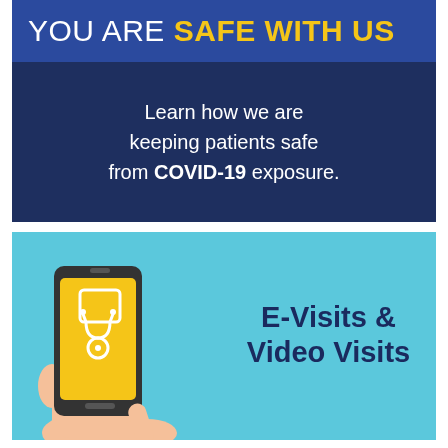YOU ARE SAFE WITH US
Learn how we are keeping patients safe from COVID-19 exposure.
[Figure (illustration): Illustration of two hands holding a smartphone with a yellow screen displaying a stethoscope icon, with a finger pointing at the screen. Next to it text reads E-Visits & Video Visits on a light blue background.]